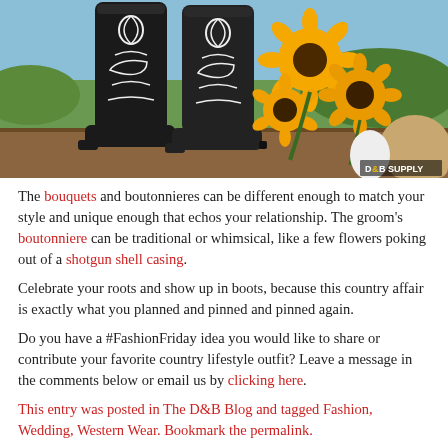[Figure (photo): Photo of black cowboy boots with white decorative stitching and a bouquet of sunflowers on a wooden surface with green landscape in background. D&B Supply watermark in bottom right.]
The bouquets and boutonnieres can be different enough to match your style and unique enough that echos your relationship. The groom's boutonniere can be traditional or whimsical, like a few flowers poking out of a shotgun shell casing.
Celebrate your roots and show up in boots, because this country affair is exactly what you planned and pinned and pinned again.
Do you have a #FashionFriday idea you would like to share or contribute your favorite country lifestyle outfit? Leave a message in the comments below or email us by clicking here.
This entry was posted in The D&B Blog and tagged Fashion, Wedding, Western Wear. Bookmark the permalink.